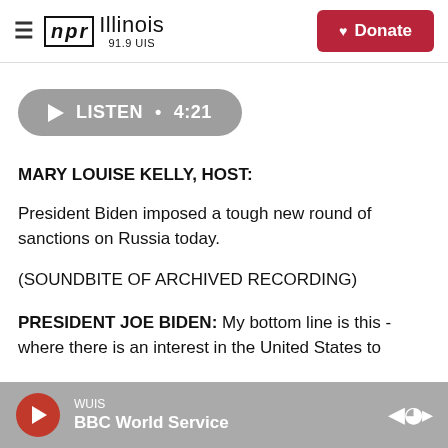NPR Illinois 91.9 UIS | Donate
[Figure (other): Listen audio player button showing play triangle icon, text LISTEN · 4:21 on a grey pill/capsule shaped button]
MARY LOUISE KELLY, HOST:
President Biden imposed a tough new round of sanctions on Russia today.
(SOUNDBITE OF ARCHIVED RECORDING)
PRESIDENT JOE BIDEN: My bottom line is this - where there is an interest in the United States to
WUIS | BBC World Service